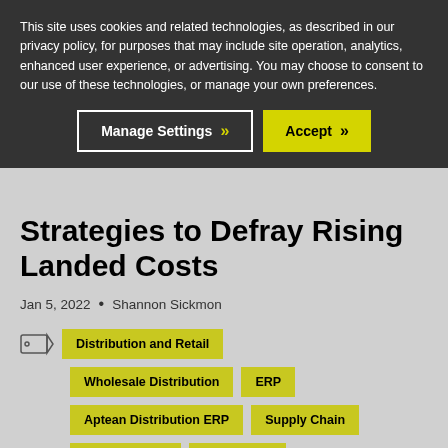This site uses cookies and related technologies, as described in our privacy policy, for purposes that may include site operation, analytics, enhanced user experience, or advertising. You may choose to consent to our use of these technologies, or manage your own preferences.
Manage Settings
Accept
Strategies to Defray Rising Landed Costs
Jan 5, 2022 • Shannon Sickmon
Distribution and Retail
Wholesale Distribution
ERP
Aptean Distribution ERP
Supply Chain
Landed Costs
Technology